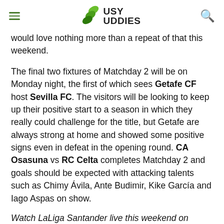Busy Buddies
would love nothing more than a repeat of that this weekend.
The final two fixtures of Matchday 2 will be on Monday night, the first of which sees Getafe CF host Sevilla FC. The visitors will be looking to keep up their positive start to a season in which they really could challenge for the title, but Getafe are always strong at home and showed some positive signs even in defeat in the opening round. CA Osasuna vs RC Celta completes Matchday 2 and goals should be expected with attacking talents such as Chimy Ávila, Ante Budimir, Kike García and Iago Aspas on show.
Watch LaLiga Santander live this weekend on